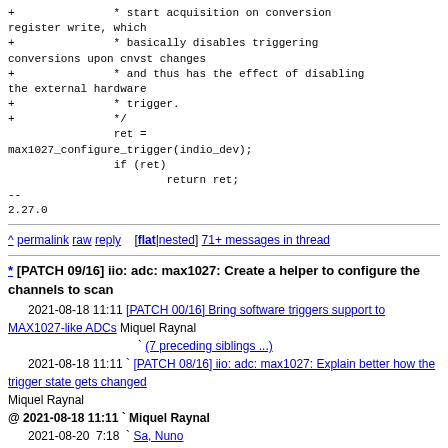+ * start acquisition on conversion register write, which
+ * basically disables triggering conversions upon cnvst changes
+ * and thus has the effect of disabling the external hardware
+ * trigger.
+ */
                ret =
max1027_configure_trigger(indio_dev);
                if (ret)
                        return ret;
--
2.27.0
^ permalink raw reply   [flat|nested] 71+ messages in thread
* [PATCH 09/16] iio: adc: max1027: Create a helper to configure the channels to scan
  2021-08-18 11:11  [PATCH 00/16] Bring software triggers support to MAX1027-like ADCs Miquel Raynal
                   ` (7 preceding siblings ...)
  2021-08-18 11:11  ` [PATCH 08/16] iio: adc: max1027: Explain better how the trigger state gets changed Miquel Raynal
@ 2021-08-18 11:11  ` Miquel Raynal
  2021-08-20  7:18  ` Sa, Nuno
  2021-08-18 11:11  ` [PATCH 10/16] iio: adc: max1027: